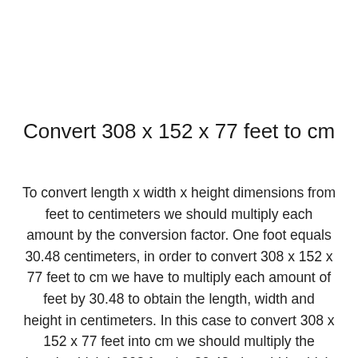Convert 308 x 152 x 77 feet to cm
To convert length x width x height dimensions from feet to centimeters we should multiply each amount by the conversion factor. One foot equals 30.48 centimeters, in order to convert 308 x 152 x 77 feet to cm we have to multiply each amount of feet by 30.48 to obtain the length, width and height in centimeters. In this case to convert 308 x 152 x 77 feet into cm we should multiply the length which is 308 feet by 30.48, the width which is 152 feet by